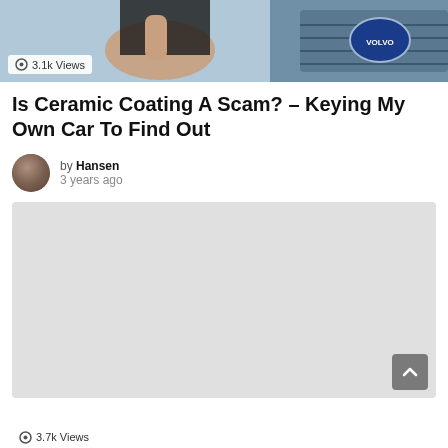[Figure (photo): Close-up photo of a hand touching a Volvo car grille, with 3.1k Views badge visible]
Is Ceramic Coating A Scam? – Keying My Own Car To Find Out
by Hansen
3 years ago
[Figure (photo): Gray placeholder rectangle representing a second video/image thumbnail]
3.7k Views